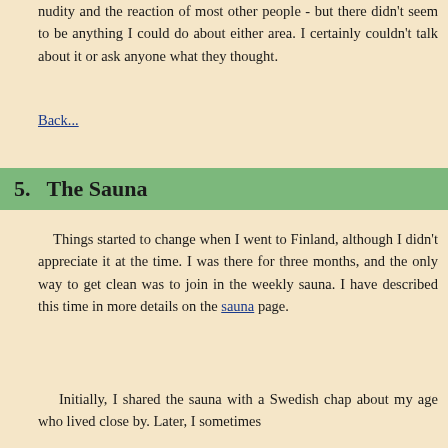nudity and the reaction of most other people - but there didn't seem to be anything I could do about either area. I certainly couldn't talk about it or ask anyone what they thought.
Back...
5.   The Sauna
Things started to change when I went to Finland, although I didn't appreciate it at the time. I was there for three months, and the only way to get clean was to join in the weekly sauna. I have described this time in more details on the sauna page.
Initially, I shared the sauna with a Swedish chap about my age who lived close by. Later, I sometimes